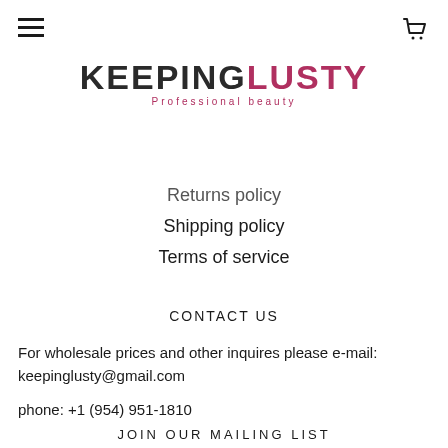[Figure (logo): KeepingLusty Professional Beauty logo — KEEPING in dark/black uppercase, LUSTY in dark pink/mauve uppercase, 'Professional beauty' tagline below in spaced pink letters]
Returns policy
Shipping policy
Terms of service
CONTACT US
For wholesale prices and other inquires please e-mail: keepinglusty@gmail.com
phone: +1 (954) 951-1810
JOIN OUR MAILING LIST